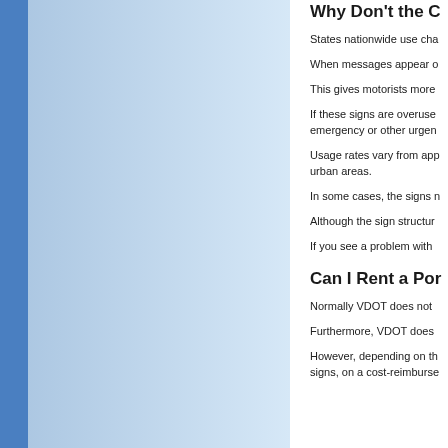[Figure (illustration): Blue gradient panel on the left side of the page with a solid blue vertical stripe on the far left edge]
Why Don't the C
States nationwide use cha
When messages appear o
This gives motorists more
If these signs are overuse emergency or other urgen
Usage rates vary from app urban areas.
In some cases, the signs n
Although the sign structur
If you see a problem with
Can I Rent a Por
Normally VDOT does not
Furthermore, VDOT does
However, depending on th signs, on a cost-reimburse